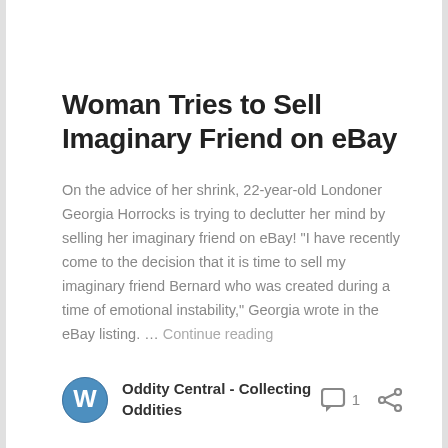Woman Tries to Sell Imaginary Friend on eBay
On the advice of her shrink, 22-year-old Londoner Georgia Horrocks is trying to declutter her mind by selling her imaginary friend on eBay! "I have recently come to the decision that it is time to sell my imaginary friend Bernard who was created during a time of emotional instability," Georgia wrote in the eBay listing. … Continue reading
Oddity Central - Collecting Oddities